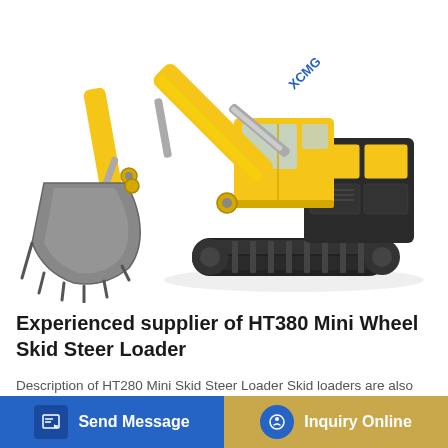[Figure (photo): Yellow XCMG large excavator with extended arm and bucket on white background]
Experienced supplier of HT380 Mini Wheel Skid Steer Loader
Description of HT280 Mini Skid Steer Loader Skid loaders are also known as skid steer loaders, multi-purpose multi-fi...